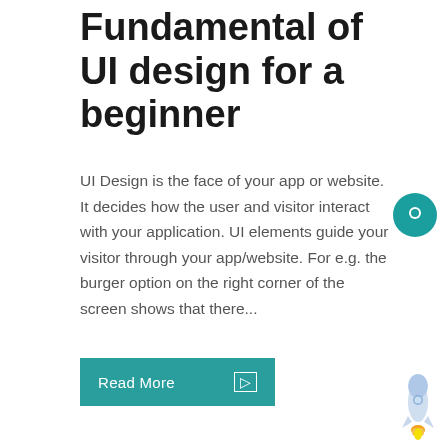Fundamental of UI design for a beginner
UI Design is the face of your app or website. It decides how the user and visitor interact with your application. UI elements guide your visitor through your app/website. For e.g. the burger option on the right corner of the screen shows that there...
[Figure (illustration): Teal circular chat bubble icon on the right side of the page]
[Figure (illustration): Small rocket ship illustration in the bottom right corner]
Read More